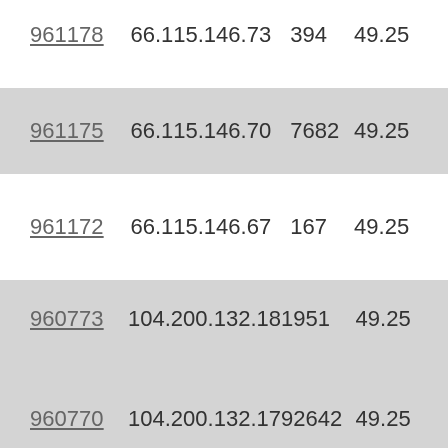| ID | IP | Num | Val |
| --- | --- | --- | --- |
| 961178 | 66.115.146.73 | 394 | 49.25 |
| 961175 | 66.115.146.70 | 7682 | 49.25 |
| 961172 | 66.115.146.67 | 167 | 49.25 |
| 960773 | 104.200.132.181 | 951 | 49.25 |
| 960770 | 104.200.132.179 | 2642 | 49.25 |